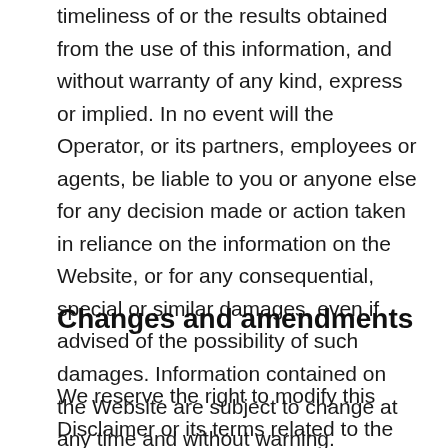timeliness of or the results obtained from the use of this information, and without warranty of any kind, express or implied. In no event will the Operator, or its partners, employees or agents, be liable to you or anyone else for any decision made or action taken in reliance on the information on the Website, or for any consequential, special or similar damages, even if advised of the possibility of such damages. Information contained on the Website are subject to change at any time and without warning.
Changes and amendments
We reserve the right to modify this Disclaimer or its terms related to the Website and Services at any time at